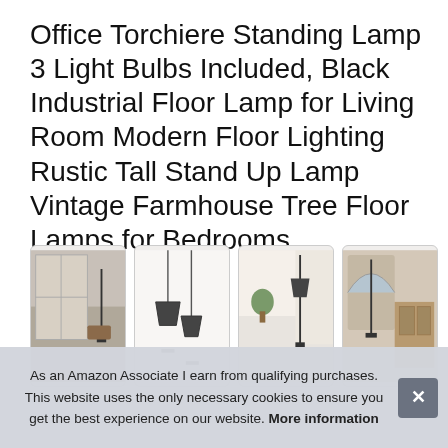Office Torchiere Standing Lamp 3 Light Bulbs Included, Black Industrial Floor Lamp for Living Room Modern Floor Lighting Rustic Tall Stand Up Lamp Vintage Farmhouse Tree Floor Lamps for Bedrooms
[Figure (photo): Four thumbnail images of floor lamps in various room settings]
As an Amazon Associate I earn from qualifying purchases. This website uses the only necessary cookies to ensure you get the best experience on our website. More information